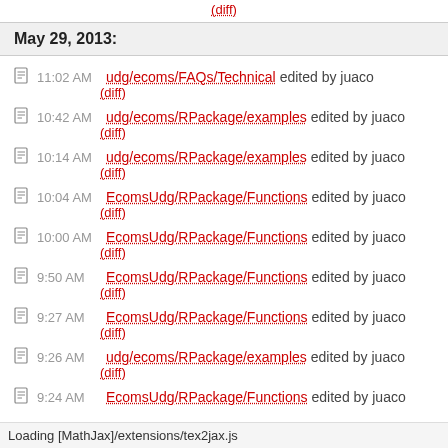(diff)
May 29, 2013:
11:02 AM udg/ecoms/FAQs/Technical edited by juaco (diff)
10:42 AM udg/ecoms/RPackage/examples edited by juaco (diff)
10:14 AM udg/ecoms/RPackage/examples edited by juaco (diff)
10:04 AM EcomsUdg/RPackage/Functions edited by juaco (diff)
10:00 AM EcomsUdg/RPackage/Functions edited by juaco (diff)
9:50 AM EcomsUdg/RPackage/Functions edited by juaco (diff)
9:27 AM EcomsUdg/RPackage/Functions edited by juaco (diff)
9:26 AM udg/ecoms/RPackage/examples edited by juaco (diff)
9:24 AM EcomsUdg/RPackage/Functions edited by juaco
Loading [MathJax]/extensions/tex2jax.js